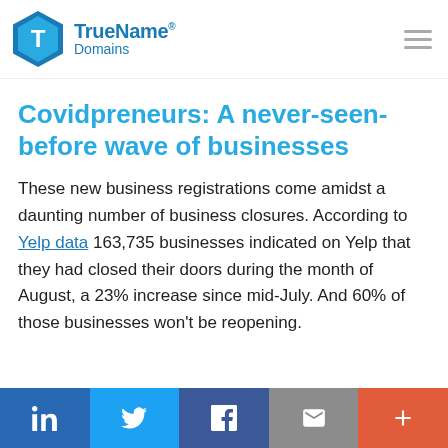TrueName® Domains
Covidpreneurs: A never-seen-before wave of businesses
These new business registrations come amidst a daunting number of business closures. According to Yelp data 163,735 businesses indicated on Yelp that they had closed their doors during the month of August, a 23% increase since mid-July. And 60% of those businesses won't be reopening.